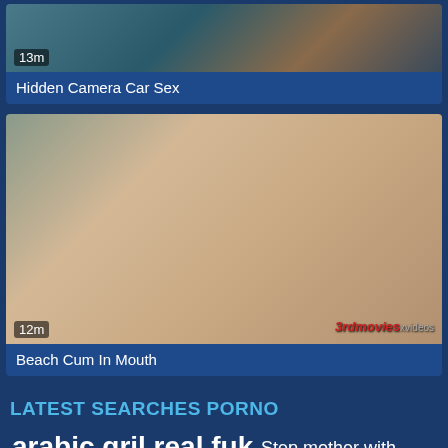[Figure (screenshot): Video thumbnail for Hidden Camera Car Sex, duration 13m]
Hidden Camera Car Sex
[Figure (screenshot): Video thumbnail for Beach Cum In Mouth, duration 12m, with 3rdmovies xvideos watermark]
Beach Cum In Mouth
LATEST SEARCHES PORNO
arabic gril real fuk  Step mother with teen